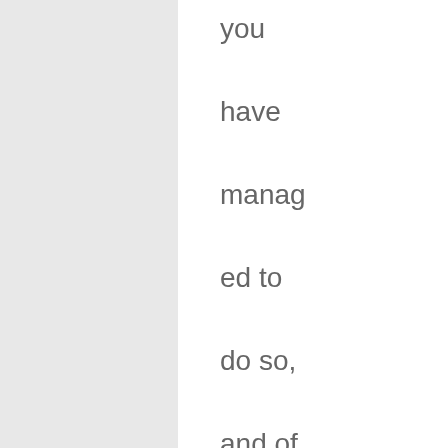you have managed to do so, and of course this likely still require